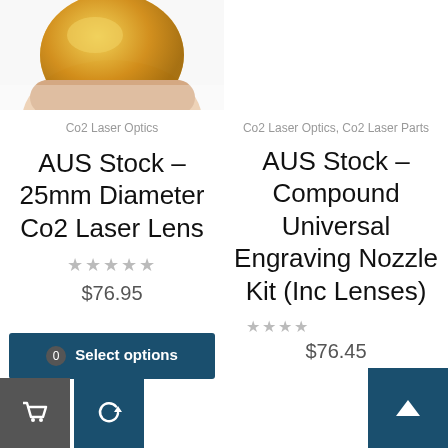[Figure (photo): Partial view of a gold/yellow circular Co2 laser lens held between fingers, visible in the top-left column]
Co2 Laser Optics
AUS Stock – 25mm Diameter Co2 Laser Lens
★★★★★
$76.95
Select options
Co2 Laser Optics, Co2 Laser Parts
AUS Stock – Compound Universal Engraving Nozzle Kit (Inc Lenses)
★★★★
$76.45